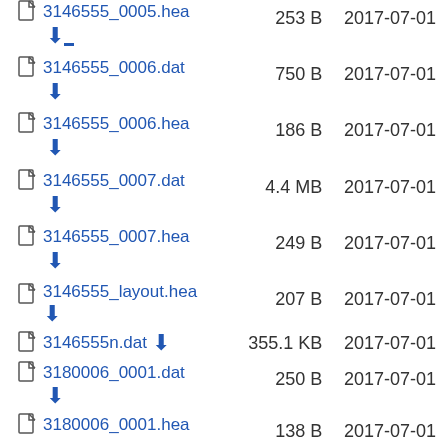3146555_0005.hea  253 B  2017-07-01
3146555_0006.dat  750 B  2017-07-01
3146555_0006.hea  186 B  2017-07-01
3146555_0007.dat  4.4 MB  2017-07-01
3146555_0007.hea  249 B  2017-07-01
3146555_layout.hea  207 B  2017-07-01
3146555n.dat  355.1 KB  2017-07-01
3180006_0001.dat  250 B  2017-07-01
3180006_0001.hea  138 B  2017-07-01